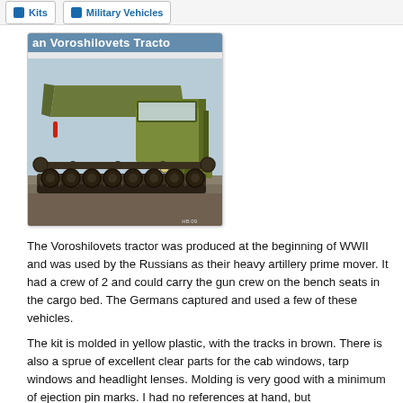Kits | Military Vehicles
[Figure (photo): Box art image of the Voroshilovets Tractor model kit showing a green tracked military tractor vehicle with canvas-covered cargo bed, viewed from a front-left angle. Banner text at top reads 'an Voroshilovets Tracto']
The Voroshilovets tractor was produced at the beginning of WWII and was used by the Russians as their heavy artillery prime mover. It had a crew of 2 and could carry the gun crew on the bench seats in the cargo bed. The Germans captured and used a few of these vehicles.
The kit is molded in yellow plastic, with the tracks in brown. There is also a sprue of excellent clear parts for the cab windows, tarp windows and headlight lenses. Molding is very good with a minimum of ejection pin marks. I had no references at hand, but